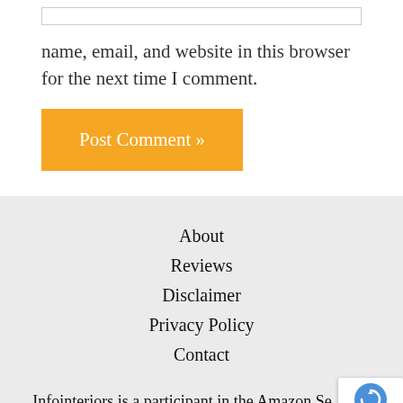name, email, and website in this browser for the next time I comment.
Post Comment »
About
Reviews
Disclaimer
Privacy Policy
Contact
Infointeriors is a participant in the Amazon Services LLC Associates Program, an affiliate advertising program designed to provide a means for us to earn